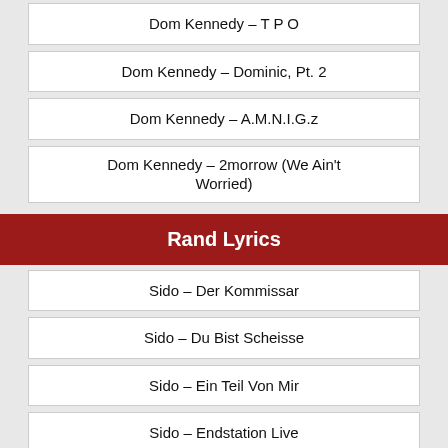Dom Kennedy – T P O
Dom Kennedy – Dominic, Pt. 2
Dom Kennedy – A.M.N.I.G.z
Dom Kennedy – 2morrow (We Ain't Worried)
Rand Lyrics
Sido – Der Kommissar
Sido – Du Bist Scheisse
Sido – Ein Teil Von Mir
Sido – Endstation Live
Sido – Frohe Weihnachten